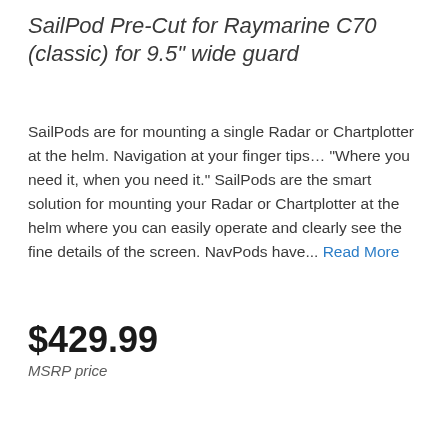SailPod Pre-Cut for Raymarine C70 (classic) for 9.5" wide guard
SailPods are for mounting a single Radar or Chartplotter at the helm. Navigation at your finger tips… “Where you need it, when you need it.” SailPods are the smart solution for mounting your Radar or Chartplotter at the helm where you can easily operate and clearly see the fine details of the screen. NavPods have... Read More
$429.99
MSRP price
1   ADD TO CART